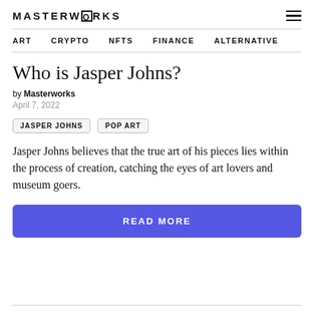MASTERWORKS
ART  CRYPTO  NFTS  FINANCE  ALTERNATIVE
Who is Jasper Johns?
by Masterworks
April 7, 2022
JASPER JOHNS
POP ART
Jasper Johns believes that the true art of his pieces lies within the process of creation, catching the eyes of art lovers and museum goers.
READ MORE